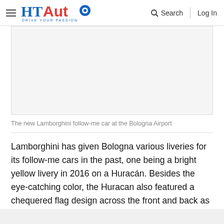HT Auto - Drive Your Passion | Search | Log In
[Figure (photo): Blank/white image placeholder for the new Lamborghini follow-me car at the Bologna Airport]
The new Lamborghini follow-me car at the Bologna Airport
Lamborghini has given Bologna various liveries for its follow-me cars in the past, one being a bright yellow livery in 2016 on a Huracán. Besides the eye-catching color, the Huracan also featured a chequered flag design across the front and back as well as an outline of the Bologna skyline down the sides. A light bar was added to the standard spec Huracán to